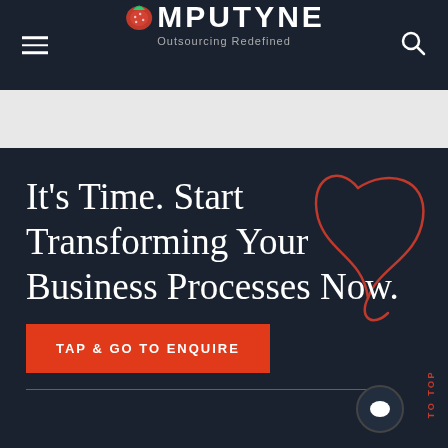COMPUTYNE — Outsourcing Redefined
It's Time. Start Transforming Your Business Processes Now.
TAP & GO TO ENQUIRE